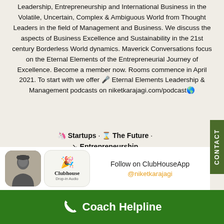Leadership, Entrepreneurship and International Business in the Volatile, Uncertain, Complex & Ambiguous World from Thought Leaders in the field of Management and Business. We discuss the aspects of Business Excellence and Sustainability in the 21st century Borderless World dynamics. Maverick Conversations focus on the Eternal Elements of the Entrepreneurial Journey of Excellence. Become a member now. Rooms commence in April 2021. To start with we offer 🎙 Eternal Elements Leadership & Management podcasts on niketkarajagi.com/podcast🌍
🦄 Startups · ⏳ The Future · ↗ Entrepreneurship
[Figure (screenshot): Clubhouse app profile card showing a black-and-white portrait photo of a person, the Clubhouse app logo, the text 'Follow on ClubHouseApp' and handle '@niketkarajagi']
Follow on ClubHouseApp
@niketkarajagi
📞 Coach Helpline